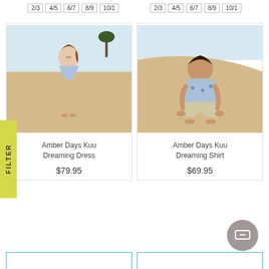Size filters left: 2/3, 4/5, 6/7, 8/9, 10/1
Size filters right: 2/3, 4/5, 6/7, 8/9, 10/1
[Figure (photo): Girl wearing blue floral dress standing on sandy beach]
Amber Days Kuu Dreaming Dress
$79.95
[Figure (photo): Boy wearing blue floral shirt sitting on sandy beach]
Amber Days Kuu Dreaming Shirt
$69.95